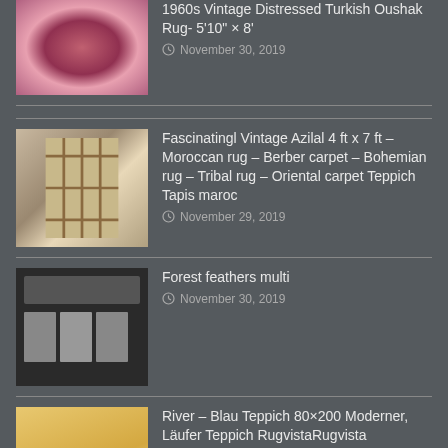1960s Vintage Distressed Turkish Oushak Rug- 5'10" × 8'
November 30, 2019
Fascinatingl Vintage Azilal 4 ft x 7 ft – Moroccan rug – Berber carpet – Bohemian rug – Tribal rug – Oriental carpet Teppich Tapis maroc
November 29, 2019
Forest feathers multi
November 30, 2019
River – Blau Teppich 80×200 Moderner, Läufer Teppich RugvistaRugvista
November 30, 2019
Amazonas Koala Baby Hammock
November 30, 2019